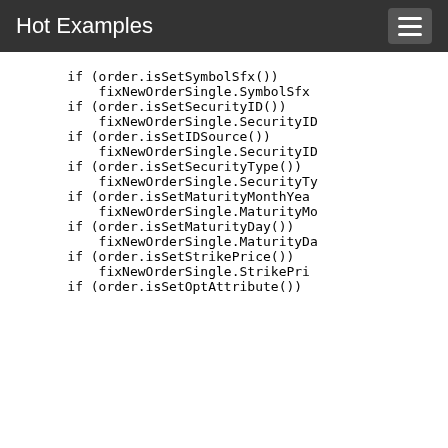Hot Examples
if (order.isSetSymbolSfx())
        fixNewOrderSingle.SymbolSfx
    if (order.isSetSecurityID())
        fixNewOrderSingle.SecurityID
    if (order.isSetIDSource())
        fixNewOrderSingle.SecurityID
    if (order.isSetSecurityType())
        fixNewOrderSingle.SecurityTy
    if (order.isSetMaturityMonthYea
        fixNewOrderSingle.MaturityMo
    if (order.isSetMaturityDay())
        fixNewOrderSingle.MaturityDa
    if (order.isSetStrikePrice())
        fixNewOrderSingle.StrikePri
    if (order.isSetOptAttribute())